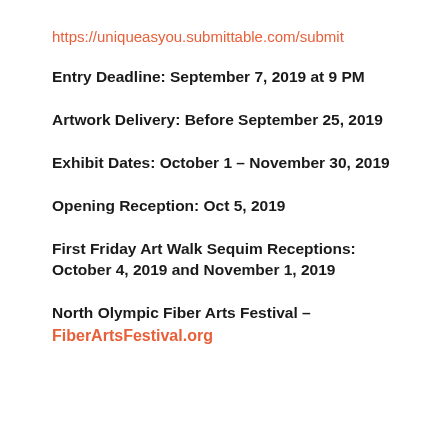https://uniqueasyou.submittable.com/submit
Entry Deadline: September 7, 2019 at 9 PM
Artwork Delivery: Before September 25, 2019
Exhibit Dates: October 1 – November 30, 2019
Opening Reception: Oct 5, 2019
First Friday Art Walk Sequim Receptions: October 4, 2019 and November 1, 2019
North Olympic Fiber Arts Festival – FiberArtsFestival.org